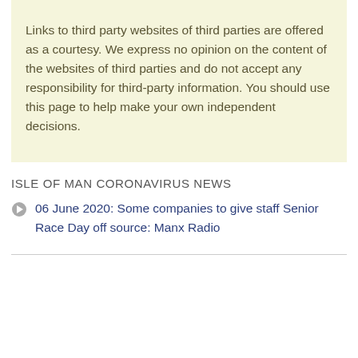Links to third party websites of third parties are offered as a courtesy. We express no opinion on the content of the websites of third parties and do not accept any responsibility for third-party information. You should use this page to help make your own independent decisions.
ISLE OF MAN CORONAVIRUS NEWS
06 June 2020: Some companies to give staff Senior Race Day off source: Manx Radio